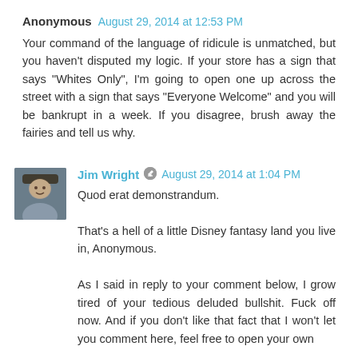Anonymous  August 29, 2014 at 12:53 PM
Your command of the language of ridicule is unmatched, but you haven't disputed my logic. If your store has a sign that says "Whites Only", I'm going to open one up across the street with a sign that says "Everyone Welcome" and you will be bankrupt in a week. If you disagree, brush away the fairies and tell us why.
Jim Wright  August 29, 2014 at 1:04 PM
Quod erat demonstrandum.

That's a hell of a little Disney fantasy land you live in, Anonymous.

As I said in reply to your comment below, I grow tired of your tedious deluded bullshit. Fuck off now. And if you don't like that fact that I won't let you comment here, feel free to open your own